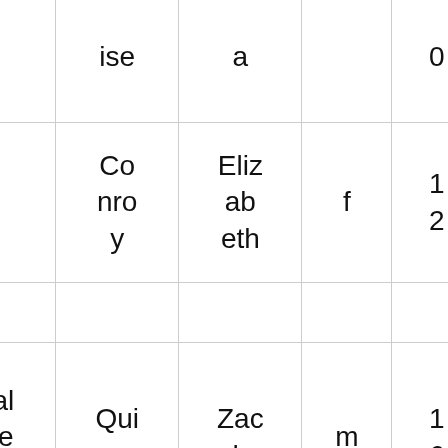|  | ise | a |  | 0 | 5 |
|  | Conroy | Elizabeth | f | 12 | 10
1
5 |
|  |  |  |  |  |  |
| Palmer | Quinn | Zach | m | 16 | 10
2
0 |
|  | Gig... | Zac... |  | 1 | 1 |